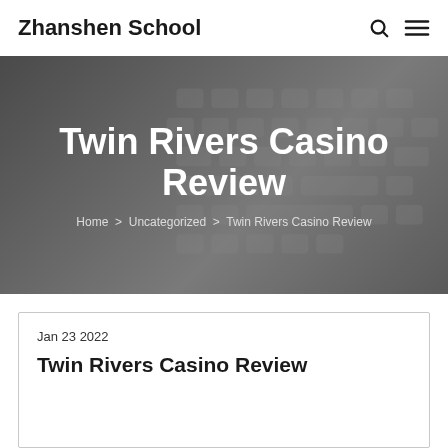Zhanshen School
Twin Rivers Casino Review
Home > Uncategorized > Twin Rivers Casino Review
Jan 23 2022
Twin Rivers Casino Review